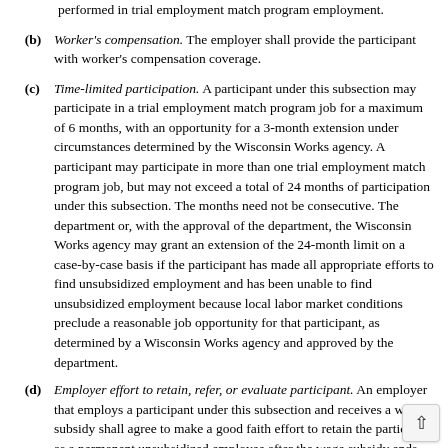performed in trial employment match program employment.
(b) Worker's compensation. The employer shall provide the participant with worker's compensation coverage.
(c) Time-limited participation. A participant under this subsection may participate in a trial employment match program job for a maximum of 6 months, with an opportunity for a 3-month extension under circumstances determined by the Wisconsin Works agency. A participant may participate in more than one trial employment match program job, but may not exceed a total of 24 months of participation under this subsection. The months need not be consecutive. The department or, with the approval of the department, the Wisconsin Works agency may grant an extension of the 24-month limit on a case-by-case basis if the participant has made all appropriate efforts to find unsubsidized employment and has been unable to find unsubsidized employment because local labor market conditions preclude a reasonable job opportunity for that participant, as determined by a Wisconsin Works agency and approved by the department.
(d) Employer effort to retain, refer, or evaluate participant. An employer that employs a participant under this subsection and receives a wage subsidy shall agree to make a good faith effort to retain the participant as a permanent unsubsidized employee after the wage subsidy ends, although nothing in this subsection requires an employer to